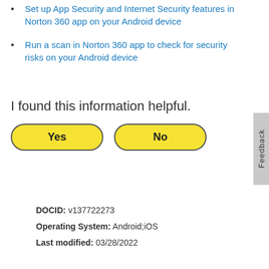Set up App Security and Internet Security features in Norton 360 app on your Android device
Run a scan in Norton 360 app to check for security risks on your Android device
I found this information helpful.
[Figure (other): Yes and No feedback buttons styled as yellow rounded pill buttons]
Feedback
DOCID: v137722273
Operating System: Android;iOS
Last modified: 03/28/2022